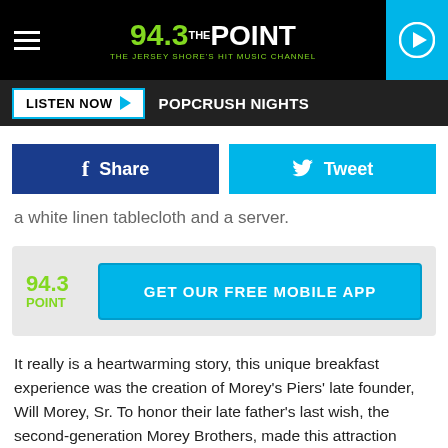94.3 THE POINT — THE JERSEY SHORE'S HIT MUSIC CHANNEL
LISTEN NOW ▶  POPCRUSH NIGHTS
Share  Tweet
a white linen tablecloth and a server.
[Figure (logo): 94.3 The Point radio station logo with GET OUR FREE MOBILE APP button]
It really is a heartwarming story, this unique breakfast experience was the creation of Morey's Piers' late founder, Will Morey, Sr. To honor their late father's last wish, the second-generation Morey Brothers, made this attraction happen!  I might have to eat all my meals this way!